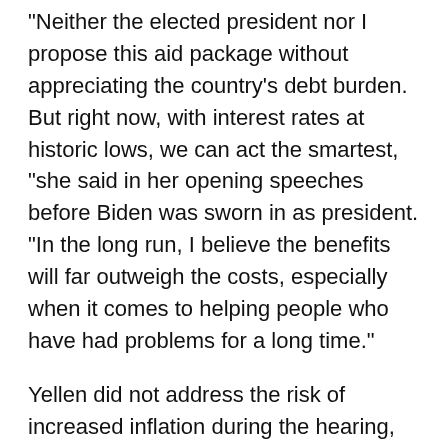“Neither the elected president nor I propose this aid package without appreciating the country's debt burden. But right now, with interest rates at historic lows, we can act the smartest, "she said in her opening speeches before Biden was sworn in as president. “In the long run, I believe the benefits will far outweigh the costs, especially when it comes to helping people who have had problems for a long time.”
Yellen did not address the risk of increased inflation during the hearing, but said that maintaining the stability of the US financial system would be beneficial for both the US and other nations.
Although US inflation has been below 2% in recent years, economists are watching the debt the nation is building as it tackles the ongoing COVID-19 pandemic.